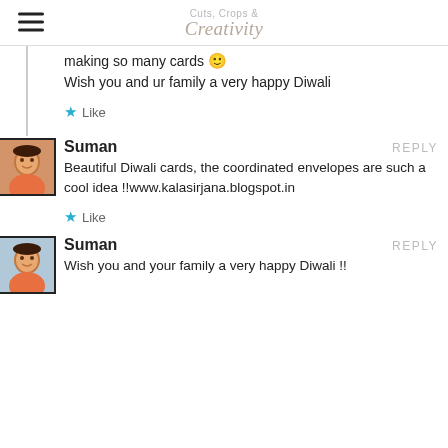Cuts, Crops & Creativity
making so many cards 🙂
Wish you and ur family a very happy Diwali
★ Like
Suman   REPLY
Beautiful Diwali cards, the coordinated envelopes are such a cool idea !!www.kalasirjana.blogspot.in
★ Like
Suman   REPLY
Wish you and your family a very happy Diwali !!